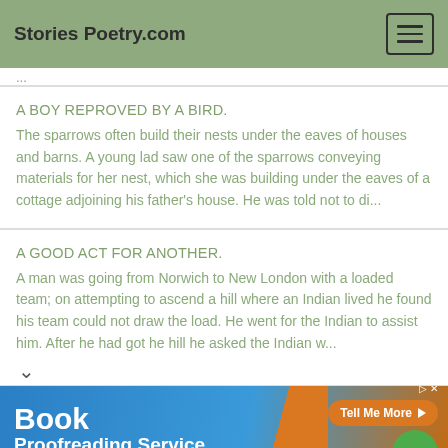Stories Poetry.com
A BOY REPROVED BY A BIRD.
The sparrows often build their nests under the eaves of houses and barns. A young lad saw one of the sparrows conveying materials for her nest, which she was building under the eaves of a cottage adjoining his father's house. He was told not to di...
A GOOD ACT FOR ANOTHER.
A man was going from Norwich to New London with a loaded team; on attempting to ascend a hill where an Indian lived he found his team could not draw the load. He went for the Indian to assist him. After he had got he hill he asked the Indian w...
[Figure (infographic): Book Proofreading Service advertisement banner with 'Tell Me More' button and 100% badge, ProofreadingPal brand.]